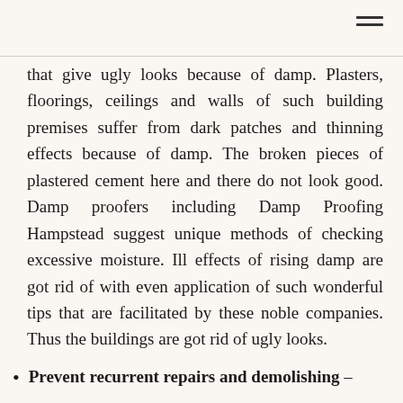≡
that give ugly looks because of damp. Plasters, floorings, ceilings and walls of such building premises suffer from dark patches and thinning effects because of damp. The broken pieces of plastered cement here and there do not look good. Damp proofers including Damp Proofing Hampstead suggest unique methods of checking excessive moisture. Ill effects of rising damp are got rid of with even application of such wonderful tips that are facilitated by these noble companies. Thus the buildings are got rid of ugly looks.
Prevent recurrent repairs and demolishing –